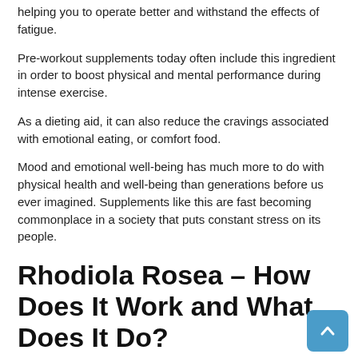helping you to operate better and withstand the effects of fatigue.
Pre-workout supplements today often include this ingredient in order to boost physical and mental performance during intense exercise.
As a dieting aid, it can also reduce the cravings associated with emotional eating, or comfort food.
Mood and emotional well-being has much more to do with physical health and well-being than generations before us ever imagined. Supplements like this are fast becoming commonplace in a society that puts constant stress on its people.
Rhodiola Rosea – How Does It Work and What Does It Do?
Intervention studies, clinical trials and other scientific research has identified Rhodiola as one of the more potent